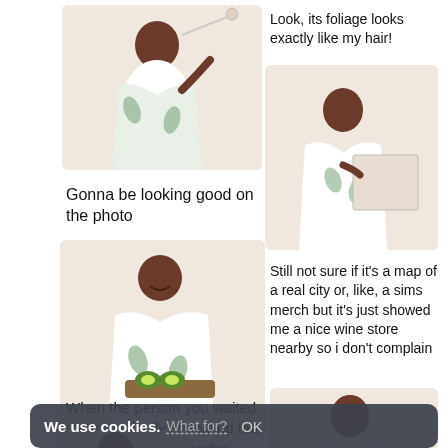[Figure (photo): Woman in floral robe holding a selfie stick]
Look, its foliage looks exactly like my hair!
[Figure (photo): Woman in floral robe looking at a large map/print]
Gonna be looking good on the photo
[Figure (photo): Woman in floral robe smiling holding a tray with avocados]
Still not sure if it's a map of a real city or, like, a sims merch but it's just showed me a nice wine store nearby so i don't complain
When the person you waited the most finally shows up but all you have is avocados
[Figure (photo): Woman in floral robe looking down]
[Figure (photo): Partial view of person at bottom]
We use cookies. What for? OK